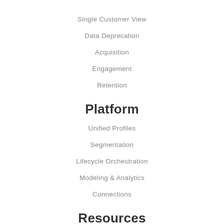Single Customer View
Data Deprecation
Acquisition
Engagement
Retention
Platform
Unified Profiles
Segmentation
Lifecycle Orchestration
Modeling & Analytics
Connections
Resources